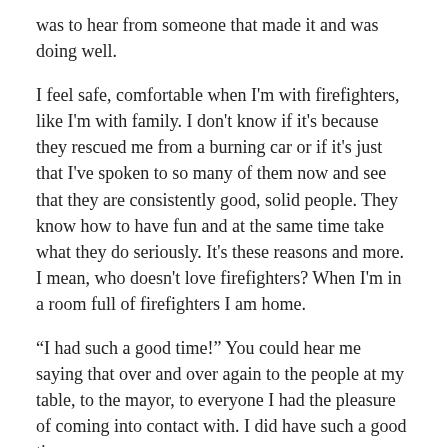was to hear from someone that made it and was doing well.
I feel safe, comfortable when I'm with firefighters, like I'm with family. I don't know if it's because they rescued me from a burning car or if it's just that I've spoken to so many of them now and see that they are consistently good, solid people. They know how to have fun and at the same time take what they do seriously. It's these reasons and more. I mean, who doesn't love firefighters? When I'm in a room full of firefighters I am home.
“I had such a good time!” You could hear me saying that over and over again to the people at my table, to the mayor, to everyone I had the pleasure of coming into contact with. I did have such a good time.
We were served great food (I've been to a few of these dinners and this might be the best meal yet) from a place called Brambles. If you're ever in Merritt you'll have to check it